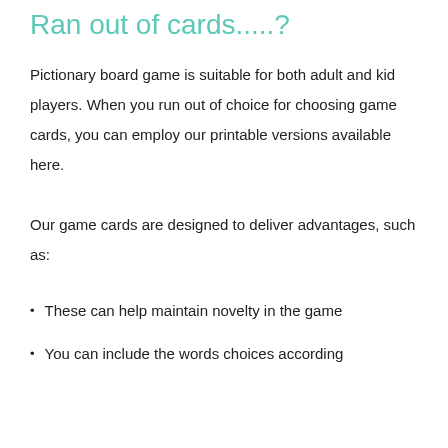Ran out of cards.....?
Pictionary board game is suitable for both adult and kid players. When you run out of choice for choosing game cards, you can employ our printable versions available here.
Our game cards are designed to deliver advantages, such as:
These can help maintain novelty in the game
You can include the words choices according